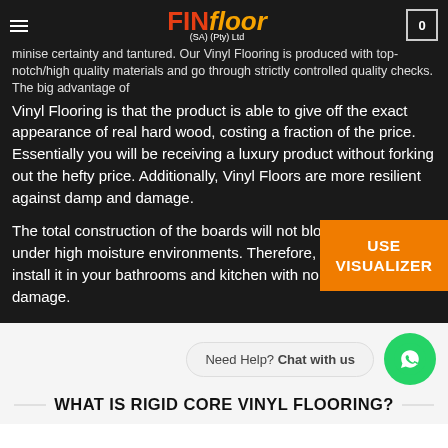FINfloor (SA) (Pty) Ltd — navigation bar with logo and cart
minise certainty and tantured. Our Vinyl Flooring is produced with top-notch/high quality materials and go through strictly controlled quality checks. The big advantage of Vinyl Flooring is that the product is able to give off the exact appearance of real hard wood, costing a fraction of the price. Essentially you will be receiving a luxury product without forking out the hefty price. Additionally, Vinyl Floors are more resilient against damp and damage.
The total construction of the boards will not bloat or warp even under high moisture environments. Therefore, you can safely install it in your bathrooms and kitchen without fear of water damage.
[Figure (screenshot): Orange USE VISUALIZER button overlay on dark background]
Need Help? Chat with us
WHAT IS RIGID CORE VINYL FLOORING?